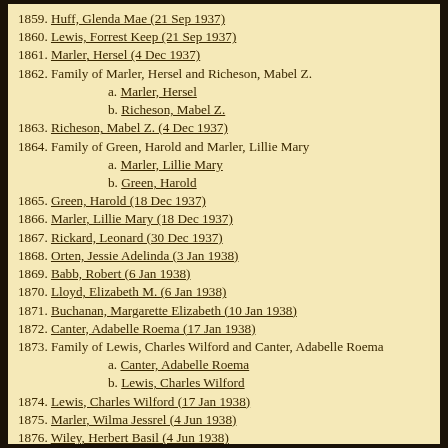1859. Huff, Glenda Mae (21 Sep 1937)
1860. Lewis, Forrest Keep (21 Sep 1937)
1861. Marler, Hersel (4 Dec 1937)
1862. Family of Marler, Hersel and Richeson, Mabel Z.
a. Marler, Hersel
b. Richeson, Mabel Z.
1863. Richeson, Mabel Z. (4 Dec 1937)
1864. Family of Green, Harold and Marler, Lillie Mary
a. Marler, Lillie Mary
b. Green, Harold
1865. Green, Harold (18 Dec 1937)
1866. Marler, Lillie Mary (18 Dec 1937)
1867. Rickard, Leonard (30 Dec 1937)
1868. Orten, Jessie Adelinda (3 Jan 1938)
1869. Babb, Robert (6 Jan 1938)
1870. Lloyd, Elizabeth M. (6 Jan 1938)
1871. Buchanan, Margarette Elizabeth (10 Jan 1938)
1872. Canter, Adabelle Roema (17 Jan 1938)
1873. Family of Lewis, Charles Wilford and Canter, Adabelle Roema
a. Canter, Adabelle Roema
b. Lewis, Charles Wilford
1874. Lewis, Charles Wilford (17 Jan 1938)
1875. Marler, Wilma Jessrel (4 Jun 1938)
1876. Wiley, Herbert Basil (4 Jun 1938)